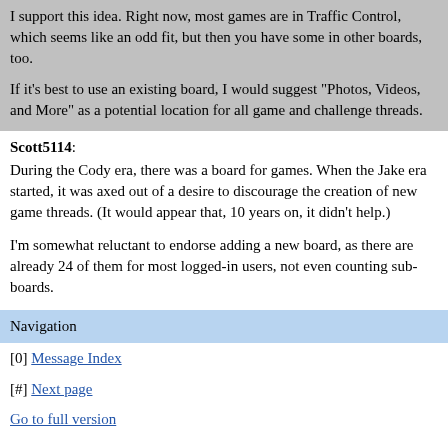I support this idea. Right now, most games are in Traffic Control, which seems like an odd fit, but then you have some in other boards, too.

If it's best to use an existing board, I would suggest "Photos, Videos, and More" as a potential location for all game and challenge threads.
Scott5114:
During the Cody era, there was a board for games. When the Jake era started, it was axed out of a desire to discourage the creation of new game threads. (It would appear that, 10 years on, it didn't help.)

I'm somewhat reluctant to endorse adding a new board, as there are already 24 of them for most logged-in users, not even counting sub-boards.
Navigation
[0] Message Index
[#] Next page
Go to full version